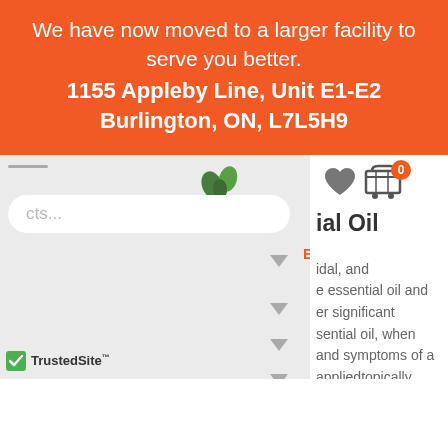We have now moved to a larger facility to serve you better.
1155 Appleby Line, Unit E1-E2 Burlington, ON, L7L5H9
[Figure (screenshot): Screenshot of a website UI showing a search bar, navigation menu with dropdown arrows, heart and shopping cart icons with badge showing 0, partial product title ending in 'ial Oil', partial product description text about essential oil properties, and TrustedSite badge in bottom left corner.]